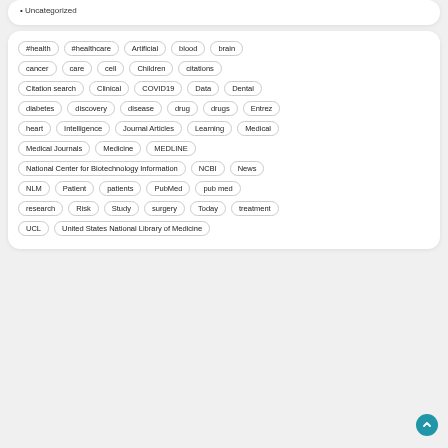Uncategorized
[Figure (other): Tag cloud of medical/health related terms displayed as pill-shaped tags with rounded borders including: #health, #healthcare, Artificial, blood, brain, cancer, care, cell, Children, citations, Citation search, Clinical, COVID19, Data, Dental, diabetes, discovery, disease, drug, drugs, Entrez, heart, Intelligence, Journal Articles, Learning, Medical, Medical Journals, Medicine, MEDLINE, National Center for Biotechnology Information, NCBI, News, NLM, Patient, patients, PubMed, pub med, research, Risk, Study, surgery, Today, treatment, UCL, United States National Library of Medicine]